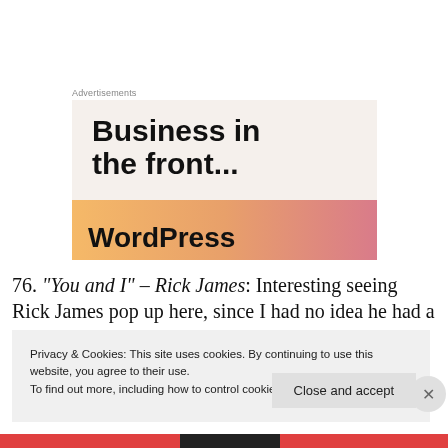Advertisements
[Figure (illustration): Advertisement banner showing 'Business in the front...' text with WordPress logo on an orange gradient bar]
76. “You and I” – Rick James: Interesting seeing Rick James pop up here, since I had no idea he had a
Privacy & Cookies: This site uses cookies. By continuing to use this website, you agree to their use.
To find out more, including how to control cookies, see here: Cookie Policy
Close and accept